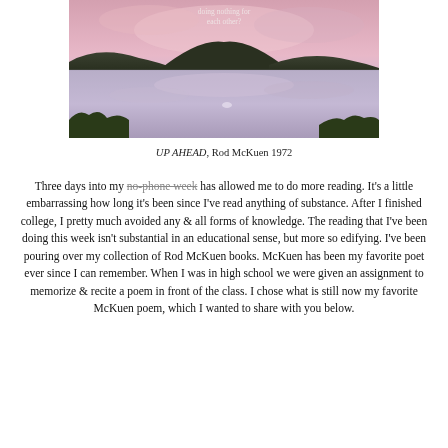[Figure (photo): Landscape photo of a lake at sunset/dusk with pink and purple sky reflecting on calm water, with hills/vegetation silhouetted along the horizon. Text overlay at top reads 'doing nothing for each other?']
UP AHEAD, Rod McKuen 1972
Three days into my no-phone week has allowed me to do more reading. It's a little embarrassing how long it's been since I've read anything of substance. After I finished college, I pretty much avoided any & all forms of knowledge. The reading that I've been doing this week isn't substantial in an educational sense, but more so edifying. I've been pouring over my collection of Rod McKuen books. McKuen has been my favorite poet ever since I can remember. When I was in high school we were given an assignment to memorize & recite a poem in front of the class. I chose what is still now my favorite McKuen poem, which I wanted to share with you below.